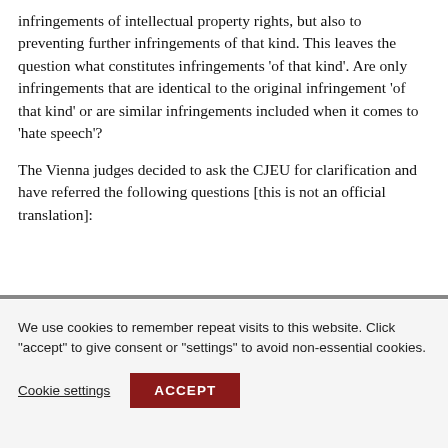infringements of intellectual property rights, but also to preventing further infringements of that kind. This leaves the question what constitutes infringements 'of that kind'. Are only infringements that are identical to the original infringement 'of that kind' or are similar infringements included when it comes to 'hate speech'?
The Vienna judges decided to ask the CJEU for clarification and have referred the following questions [this is not an official translation]:
We use cookies to remember repeat visits to this website. Click "accept" to give consent or "settings" to avoid non-essential cookies.